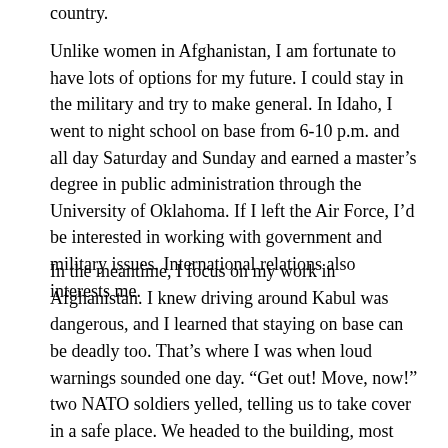country.
Unlike women in Afghanistan, I am fortunate to have lots of options for my future. I could stay in the military and try to make general. In Idaho, I went to night school on base from 6-10 p.m. and all day Saturday and Sunday and earned a master's degree in public administration through the University of Oklahoma. If I left the Air Force, I'd be interested in working with government and military issues. International relations also interests me.
In the meantime, I focus on my work in Afghanistan. I knew driving around Kabul was dangerous, and I learned that staying on base can be deadly too. That's where I was when loud warnings sounded one day. “Get out! Move, now!” two NATO soldiers yelled, telling us to take cover in a safe place. We headed to the building, most people frantic. Every 15 minutes, the screeching sirens pierced my ears. We waited there, and after several hours a different siren went off, announcing that all was clear. Then I received a call from a fellow soldier in the Australian Army, who said, “I’m sorry, mate, I heard they were all yours,” adding that an